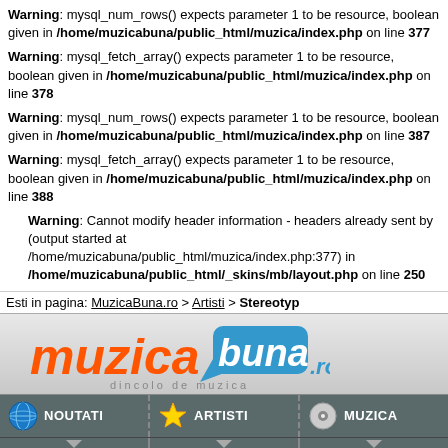Warning: mysql_num_rows() expects parameter 1 to be resource, boolean given in /home/muzicabuna/public_html/muzica/index.php on line 377
Warning: mysql_fetch_array() expects parameter 1 to be resource, boolean given in /home/muzicabuna/public_html/muzica/index.php on line 378
Warning: mysql_num_rows() expects parameter 1 to be resource, boolean given in /home/muzicabuna/public_html/muzica/index.php on line 387
Warning: mysql_fetch_array() expects parameter 1 to be resource, boolean given in /home/muzicabuna/public_html/muzica/index.php on line 388
Warning: Cannot modify header information - headers already sent by (output started at /home/muzicabuna/public_html/muzica/index.php:377) in /home/muzicabuna/public_html/_skins/mb/layout.php on line 250
Esti in pagina: MuzicaBuna.ro > Artisti > Stereotyp
[Figure (logo): MuzicaBuna.ro logo — orange 'muzica' text, blue speech-bubble 'buna', '.ro' in blue, tagline 'dincolo de muzica']
NOUTATI | ARTISTI | MUZICA navigation bar with links: stiri din muzica, critica muzicala, evenimente | trupe si solisti, poze, videoclipuri, melodii copiate | asculta muzica, descarca albume, underground